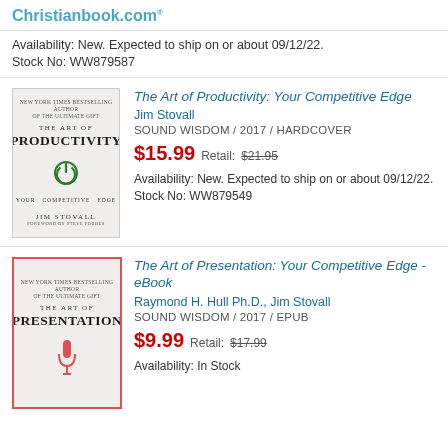Christianbook.com®
Availability: New. Expected to ship on or about 09/12/22.
Stock No: WW879587
[Figure (illustration): Book cover for The Art of Productivity: Your Competitive Edge by Jim Stovall, white/grey cover with power button icon]
The Art of Productivity: Your Competitive Edge
Jim Stovall
SOUND WISDOM / 2017 / HARDCOVER
$15.99 Retail: $21.95
Availability: New. Expected to ship on or about 09/12/22.
Stock No: WW879549
[Figure (illustration): Book cover for The Art of Presentation: Your Competitive Edge eBook by Raymond H. Hull Ph.D. and Jim Stovall, white cover with red border and microphone icon]
The Art of Presentation: Your Competitive Edge - eBook
Raymond H. Hull Ph.D., Jim Stovall
SOUND WISDOM / 2017 / EPUB
$9.99 Retail: $17.99
Availability: In Stock